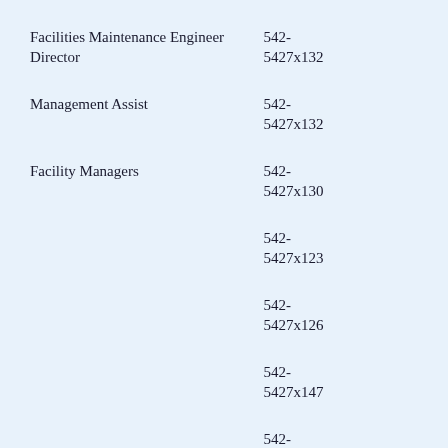Facilities Maintenance Engineer Director
Management Assist
Facility Managers
PLANNING DIVISION (Code 183)